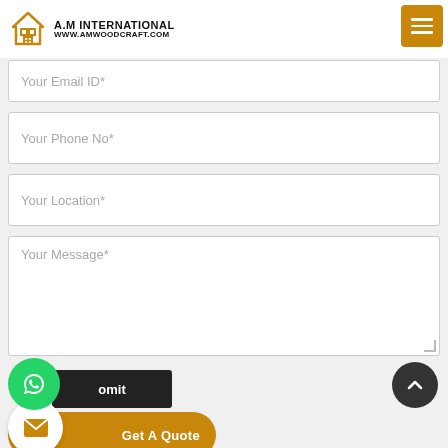A.M INTERNATIONAL www.amwoodcraft.com
Your Email ID*
Your Phone No*
Your Location*
Your Message*
omit
Get A Quote